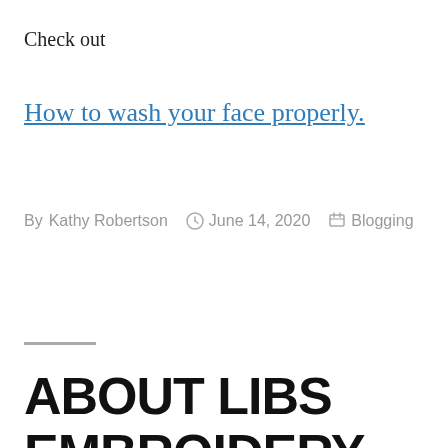Check out
How to wash your face properly.
By Kathy Robertson   June 14, 2020   Blogging
ABOUT LIBS EMBROIDERY